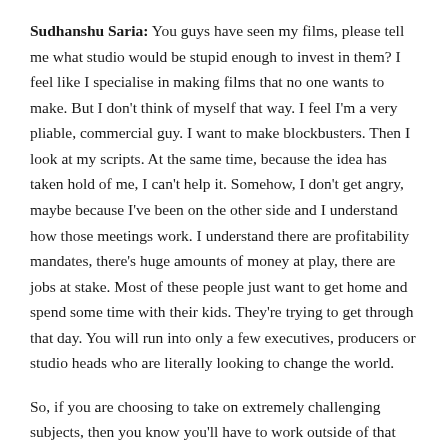Sudhanshu Saria: You guys have seen my films, please tell me what studio would be stupid enough to invest in them? I feel like I specialise in making films that no one wants to make. But I don't think of myself that way. I feel I'm a very pliable, commercial guy. I want to make blockbusters. Then I look at my scripts. At the same time, because the idea has taken hold of me, I can't help it. Somehow, I don't get angry, maybe because I've been on the other side and I understand how those meetings work. I understand there are profitability mandates, there's huge amounts of money at play, there are jobs at stake. Most of these people just want to get home and spend some time with their kids. They're trying to get through that day. You will run into only a few executives, producers or studio heads who are literally looking to change the world.
So, if you are choosing to take on extremely challenging subjects, then you know you'll have to work outside of that...